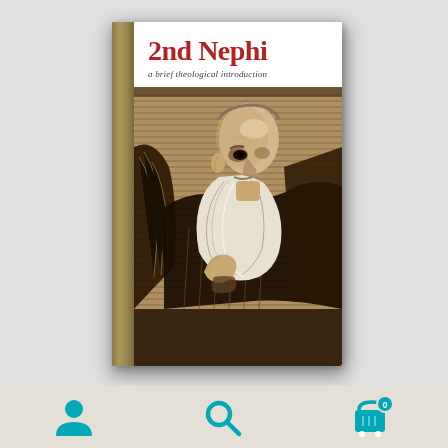[Figure (illustration): Book cover of '2nd Nephi: a brief theological introduction' showing a detailed woodcut-style illustration of an elderly bearded man (prophet figure) in robes, with hatched background texture. The book has a gold/olive spine, white cover top area with red title text, and the lower portion is a dark sepia-toned illustration.]
2nd Nephi
a brief theological introduction
[Figure (infographic): Three teal/cyan UI icons at the bottom of the page: a user/person icon on the left, a search/magnifying glass icon in the center, and a shopping cart icon with a badge showing '0' on the right.]